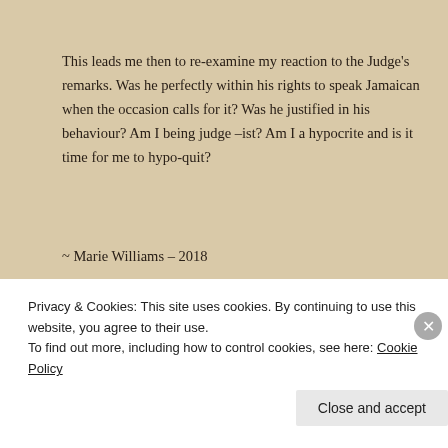This leads me then to re-examine my reaction to the Judge's remarks. Was he perfectly within his rights to speak Jamaican when the occasion calls for it? Was he justified in his behaviour? Am I being judge –ist? Am I a hypocrite and is it time for me to hypo-quit?
~ Marie Williams – 2018
Advertisements
[Figure (screenshot): Advertisement banner showing overlapping social media and tech brand cards including Meta and Facebook, with text 'We're the WordPress CMS']
Privacy & Cookies: This site uses cookies. By continuing to use this website, you agree to their use.
To find out more, including how to control cookies, see here: Cookie Policy
Close and accept